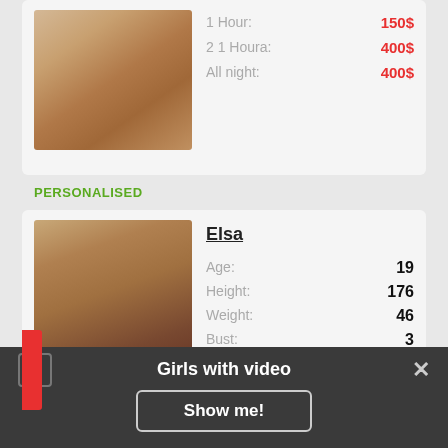[Figure (photo): Partial top card with photo of person and pricing info]
1 Hour: 150$
2 1 Houra: 400$
All night: 400$
PERSONALISED
[Figure (photo): Photo of Elsa, a young woman posing indoors near a window]
Elsa
Age: 19
Height: 176
Weight: 46
Bust: 3
1 Hour: 60$
Два 1 Houra: 400$
Overnight: 450$
Girls with video
Show me!